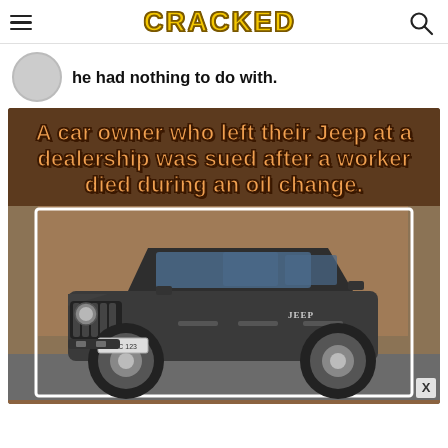CRACKED
he had nothing to do with.
[Figure (infographic): Cracked article card with brown/dark background and orange outlined bold text reading: 'A car owner who left their Jeep at a dealership was sued after a worker died during an oil change.' Below the text is a photo of a dark gray Jeep Wrangler parked in front of a brick building.]